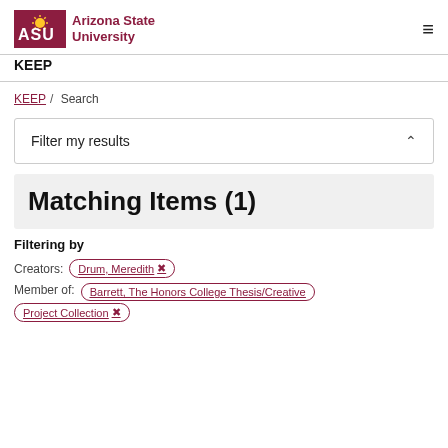ASU Arizona State University | KEEP
KEEP / Search
Filter my results
Matching Items (1)
Filtering by
Creators: Drum, Meredith ✕
Member of: Barrett, The Honors College Thesis/Creative Project Collection ✕